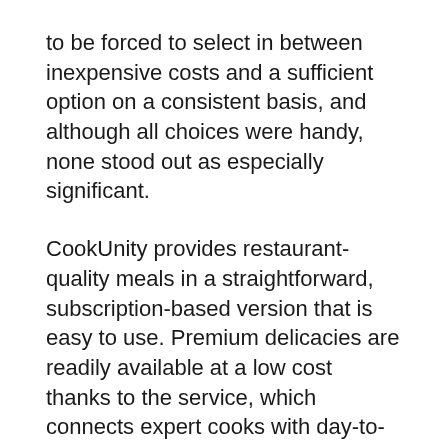to be forced to select in between inexpensive costs and a sufficient option on a consistent basis, and although all choices were handy, none stood out as especially significant.
CookUnity provides restaurant-quality meals in a straightforward, subscription-based version that is easy to use. Premium delicacies are readily available at a low cost thanks to the service, which connects expert cooks with day-to-day customers. CookUnity advertises itself as being a chef-driven facility, serving customized dishes that differ once a week as well as are produced fresh using products bought from neighborhood and also sustainable sources.